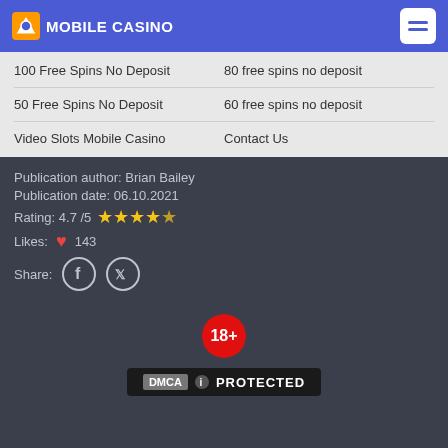MOBILE CASINO
100 Free Spins No Deposit
80 free spins no deposit
50 Free Spins No Deposit
60 free spins no deposit
Video Slots Mobile Casino
Contact Us
Publication author: Brian Bailey
Publication date: 06.10.2021
Rating: 4.7 /5 ★★★★★
Likes: ♥ 143
Share:
[Figure (logo): 18+ age restriction badge (red circle)]
[Figure (logo): DMCA PROTECTED badge]